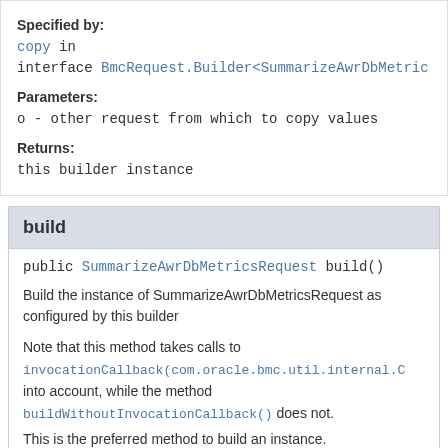Specified by:
copy in interface BmcRequest.Builder<SummarizeAwrDbMetric...
Parameters:
o - other request from which to copy values
Returns:
this builder instance
build
public SummarizeAwrDbMetricsRequest build()
Build the instance of SummarizeAwrDbMetricsRequest as configured by this builder
Note that this method takes calls to invocationCallback(com.oracle.bmc.util.internal.C... into account, while the method buildWithoutInvocationCallback() does not.
This is the preferred method to build an instance.